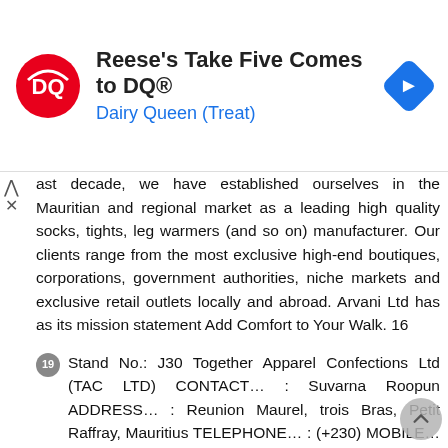[Figure (other): Dairy Queen advertisement banner: DQ logo on left, text 'Reese's Take Five Comes to DQ®' and 'Dairy Queen (Treat)' in center, blue navigation arrow icon on right]
ast decade, we have established ourselves in the Mauritian and regional market as a leading high quality socks, tights, leg warmers (and so on) manufacturer. Our clients range from the most exclusive high-end boutiques, corporations, government authorities, niche markets and exclusive retail outlets locally and abroad. Arvani Ltd has as its mission statement Add Comfort to Your Walk. 16
19 Stand No.: J30 Together Apparel Confections Ltd (TAC LTD) CONTACT... : Suvarna Roopun ADDRESS... : Reunion Maurel, trois Bras, Petit Raffray, Mauritius TELEPHONE... : (+230) MOBILE... : (+230) : PRODUCT ON DISPLAY... : T-Shirts, Polo, Long Sleeve Shirts, Trousers, Dressers, Shorts, Boxers, Uniforms etc BRAND NAME... : KAKIEBOS, CANNYWEAR, KIDOS TAC Ltd is operational since 2014, having 36 employees at different levels. We manufacture all types of clothing like tshirts, polos, long sleeve and short sleeve shirts, trousers, boxers. We also have a line